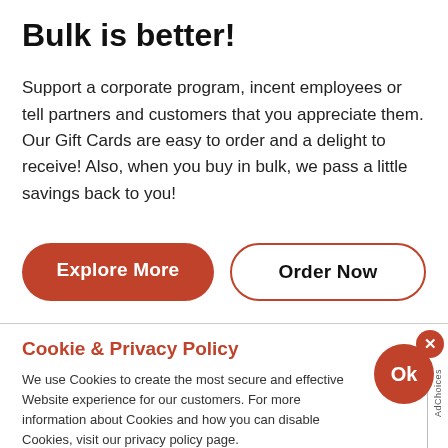Bulk is better!
Support a corporate program, incent employees or tell partners and customers that you appreciate them. Our Gift Cards are easy to order and a delight to receive! Also, when you buy in bulk, we pass a little savings back to you!
[Figure (other): Two buttons side by side: a filled red 'Explore More' button and an outlined 'Order Now' button]
Cookie & Privacy Policy
We use Cookies to create the most secure and effective Website experience for our customers. For more information about Cookies and how you can disable Cookies, visit our privacy policy page.
Learn More about Privacy
[Figure (other): Cookie consent overlay with Ok button circle and X close button, plus AdChoices sidebar]